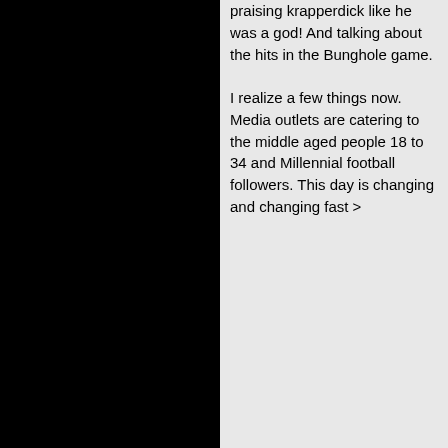praising krapperdick like he was a god! And talking about the hits in the Bunghole game.

I realize a few things now. Media outlets are catering to the middle aged people 18 to 34 and Millennial football followers. This day is changing and changing fast >
Chucktownsteeler   12-07-2017, 02:34 AM   #3
Hall of Famer
Posts: 20,216
Joined: Apr 2017
RaynorShyne (12-07-2017, 01:09 AM) Wrote:
I've turned off media (TV, Radio, Podcasts) that have to do with sports.

If you arrived on this planet after 6pm EDT Monday, you'd think Ryan Shazier was brutally murdered and JuJu Smith was akin to Charles Manson.